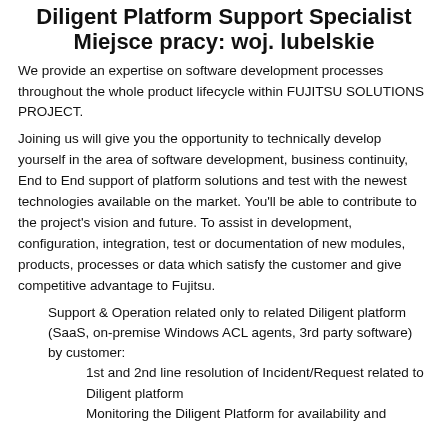Diligent Platform Support Specialist Miejsce pracy: woj. lubelskie
We provide an expertise on software development processes throughout the whole product lifecycle within FUJITSU SOLUTIONS PROJECT.
Joining us will give you the opportunity to technically develop yourself in the area of software development, business continuity, End to End support of platform solutions and test with the newest technologies available on the market. You'll be able to contribute to the project's vision and future. To assist in development, configuration, integration, test or documentation of new modules, products, processes or data which satisfy the customer and give competitive advantage to Fujitsu.
Support & Operation related only to related Diligent platform (SaaS, on-premise Windows ACL agents, 3rd party software) by customer:
1st and 2nd line resolution of Incident/Request related to Diligent platform
Monitoring the Diligent Platform for availability and